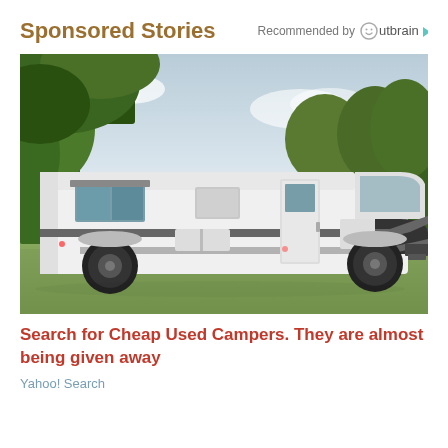Sponsored Stories
Recommended by Outbrain
[Figure (photo): A large white motorhome/RV parked on grass with trees in the background under a cloudy sky]
Search for Cheap Used Campers. They are almost being given away
Yahoo! Search